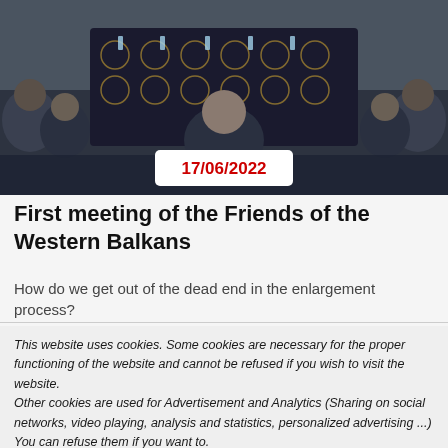[Figure (photo): Conference room with a long table, people seated around it, water bottles on the table, dark patterned tablecloth]
17/06/2022
First meeting of the Friends of the Western Balkans
How do we get out of the dead end in the enlargement process?
This website uses cookies. Some cookies are necessary for the proper functioning of the website and cannot be refused if you wish to visit the website.
Other cookies are used for Advertisement and Analytics (Sharing on social networks, video playing, analysis and statistics, personalized advertising ...) You can refuse them if you want to.
Read More
ACCEPT
REJECT
Cookie settings